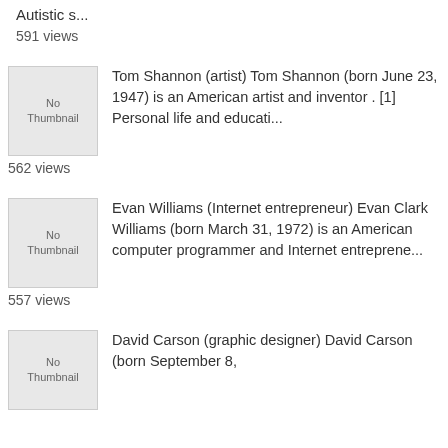Autistic s...
591 views
[Figure (illustration): No Thumbnail placeholder image]
Tom Shannon (artist) Tom Shannon (born June 23, 1947) is an American artist and inventor . [1] Personal life and educati...
562 views
[Figure (illustration): No Thumbnail placeholder image]
Evan Williams (Internet entrepreneur) Evan Clark Williams (born March 31, 1972) is an American computer programmer and Internet entreprene...
557 views
[Figure (illustration): No Thumbnail placeholder image]
David Carson (graphic designer) David Carson (born September 8,